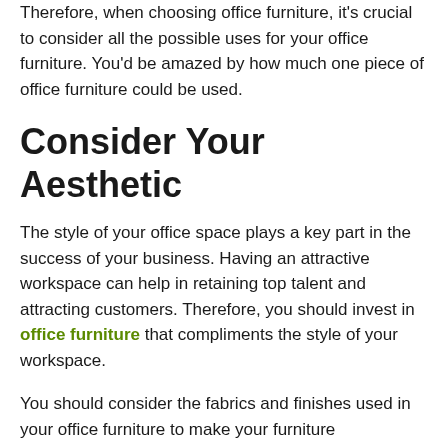Therefore, when choosing office furniture, it's crucial to consider all the possible uses for your office furniture. You'd be amazed by how much one piece of office furniture could be used.
Consider Your Aesthetic
The style of your office space plays a key part in the success of your business. Having an attractive workspace can help in retaining top talent and attracting customers. Therefore, you should invest in office furniture that compliments the style of your workspace.
You should consider the fabrics and finishes used in your office furniture to make your furniture complement your workspace's feel and look easier.